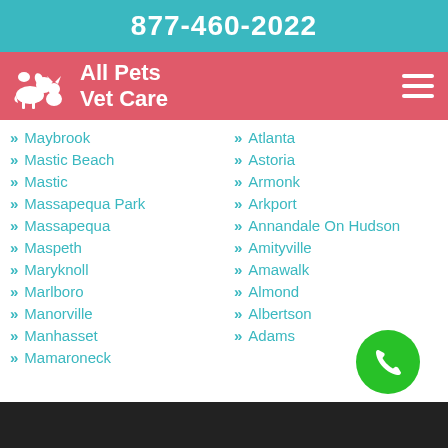877-460-2022
All Pets Vet Care
Maybrook
Mastic Beach
Mastic
Massapequa Park
Massapequa
Maspeth
Maryknoll
Marlboro
Manorville
Manhasset
Mamaroneck
Atlanta
Astoria
Armonk
Arkport
Annandale On Hudson
Amityville
Amawalk
Almond
Albertson
Adams